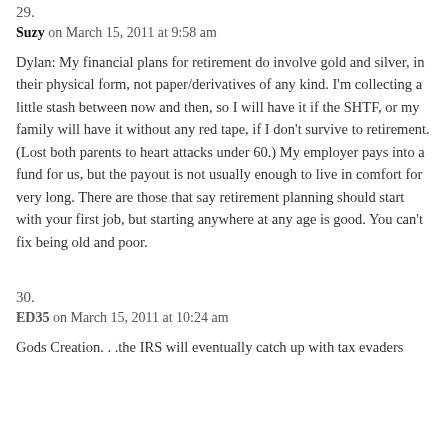29.
Suzy on March 15, 2011 at 9:58 am
Dylan: My financial plans for retirement do involve gold and silver, in their physical form, not paper/derivatives of any kind. I'm collecting a little stash between now and then, so I will have it if the SHTF, or my family will have it without any red tape, if I don't survive to retirement. (Lost both parents to heart attacks under 60.) My employer pays into a fund for us, but the payout is not usually enough to live in comfort for very long. There are those that say retirement planning should start with your first job, but starting anywhere at any age is good. You can't fix being old and poor.
30.
ED35 on March 15, 2011 at 10:24 am
Gods Creation. . .the IRS will eventually catch up with tax evaders